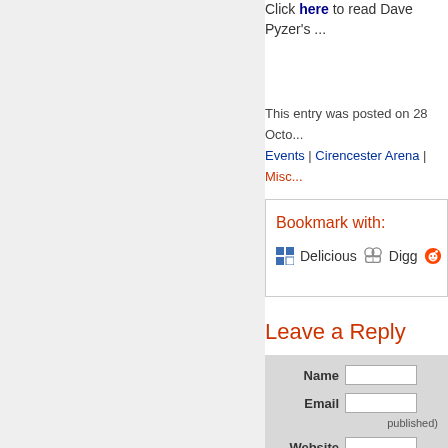Click here to read Dave Pyzer's ...
This entry was posted on 28 Octo... Events | Cirencester Arena | Misc...
Bookmark with:
Delicious   Digg   Re...
Leave a Reply
Name  Email  published)  Website  Message